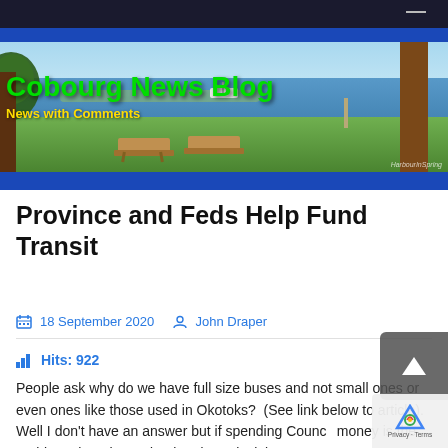[Figure (photo): Cobourg News Blog banner with harbour scene photo showing picnic tables, trees, water and sky. Site title 'Cobourg News Blog' in green text and subtitle 'News with Comments' in yellow text overlaid on the photo. Blue wave design borders top and bottom.]
Province and Feds Help Fund Transit
18 September 2020  John Draper
Hits: 922
People ask why do we have full size buses and not small ones or even ones like those used in Okotoks?  (See link below to article). Well I don't have an answer but if spending Council money is the problem, then the Federal and Provincial Governments are helping big time to buy replacements for